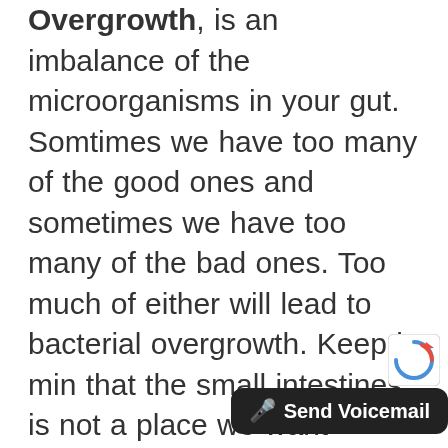Overgrowth, is an imbalance of the microorganisms in your gut. Somtimes we have too many of the good ones and sometimes we have too many of the bad ones. Too much of either will lead to bacterial overgrowth. Keep in min that the small intestines is not a place we want bacteria. When too many bacteria, or the wrong kind, begin populating and colonizing the small intestine, it can lead to uncomfortable symptoms such as weight loss, acid reflux, gas, bloating, constipation, and diarrhea. Prolonged intestinal inflammation can not only damage brush border enzymes needed to break